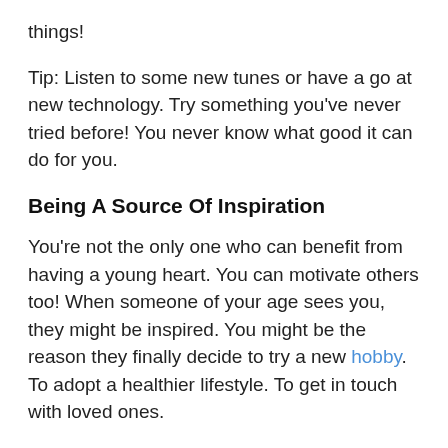things!
Tip: Listen to some new tunes or have a go at new technology. Try something you've never tried before! You never know what good it can do for you.
Being A Source Of Inspiration
You're not the only one who can benefit from having a young heart. You can motivate others too! When someone of your age sees you, they might be inspired. You might be the reason they finally decide to try a new hobby. To adopt a healthier lifestyle. To get in touch with loved ones.
Tip: You can share your lifestyle. It's even better to